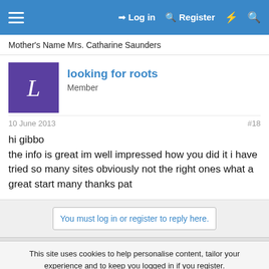≡  Log in  Register  ⚡  🔍
Mother's Name Mrs. Catharine Saunders
looking for roots
Member
10 June 2013
#18
hi gibbo
the info is great im well impressed how you did it i have tried so many sites obviously not the right ones what a great start many thanks pat
You must log in or register to reply here.
This site uses cookies to help personalise content, tailor your experience and to keep you logged in if you register.
By continuing to use this site, you are consenting to our use of cookies.